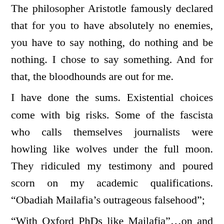The philosopher Aristotle famously declared that for you to have absolutely no enemies, you have to say nothing, do nothing and be nothing. I chose to say something. And for that, the bloodhounds are out for me. I have done the sums. Existential choices come with big risks. Some of the fascista who calls themselves journalists were howling like wolves under the full moon. They ridiculed my testimony and poured scorn on my academic qualifications. “Obadiah Mailafia’s outrageous falsehood”; “With Oxford PhDs like Mailafia”;…on and on they ranted. A small fortune has been paid for my head. I know the powerful forces behind the murder plot. I have even been told the vehicles they have been given for that diabolical mission. I have transmitted all that data to the right